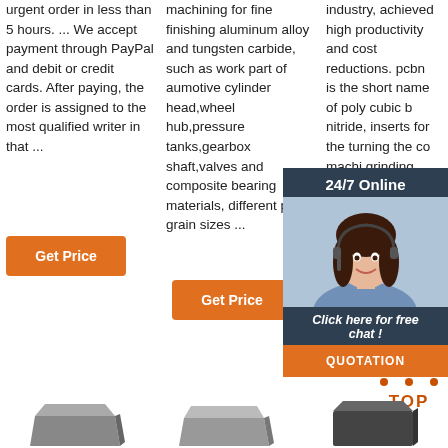urgent order in less than 5 hours. ... We accept payment through PayPal and debit or credit cards. After paying, the order is assigned to the most qualified writer in that ...
machining for fine finishing aluminum alloy and tungsten carbide, such as work part of aumotive cylinder head,wheel hub,pressure tanks,gearbox shaft,valves and composite bearing materials, different pcd grain sizes ...
industry, achieved high productivity and cost reductions. pcbn is the short name of poly cubic boron nitride, inserts for the turning and the continous machining for grinding ...
[Figure (other): 24/7 Online chat widget with female customer service agent, 'Click here for free chat!' text, and QUOTATION button]
[Figure (other): TOP scroll-to-top button with orange dots triangle and TOP label]
[Figure (other): Three dark metallic product images at the bottom of the page]